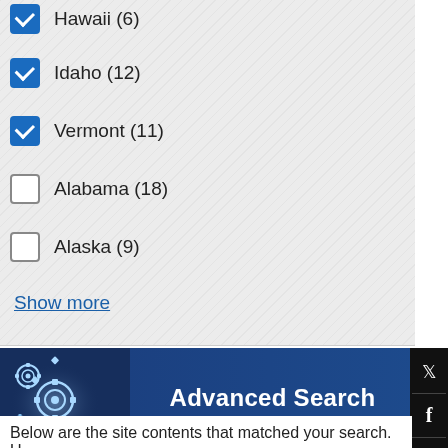Hawaii (6) — checked
Idaho (12) — checked
Vermont (11) — checked
Alabama (18) — unchecked
Alaska (9) — unchecked
Show more
Topic
Environment (2) — unchecked
Safety (2) — unchecked
School Climate Measurement (1) — unchecked
[Figure (screenshot): Advanced Search banner with gear icons on dark blue background]
Below are the site contents that matched your search. U